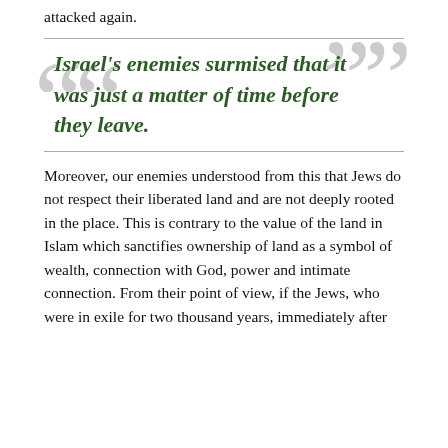attacked again.
Israel's enemies surmised that it was just a matter of time before they leave.
Moreover, our enemies understood from this that Jews do not respect their liberated land and are not deeply rooted in the place. This is contrary to the value of the land in Islam which sanctifies ownership of land as a symbol of wealth, connection with God, power and intimate connection. From their point of view, if the Jews, who were in exile for two thousand years, immediately after